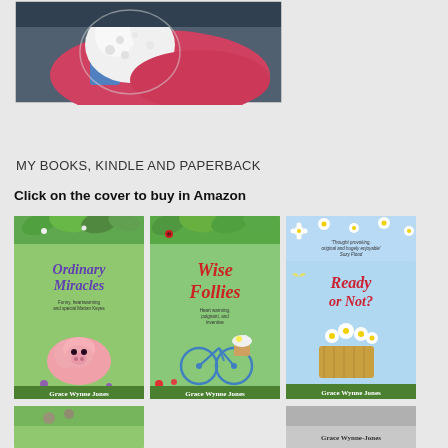[Figure (photo): Author photo showing a person in a pink/red top holding a white fluffy dog or cat, seated on a dark surface]
MY BOOKS, KINDLE AND PAPERBACK
Click on the cover to buy in Amazon
[Figure (illustration): Three book covers by Grace Wynne Jones: 'Ordinary Miracles' (purple italic title with pig illustration), 'Wise Follies' (red italic title with bicycle illustration), and 'Ready or Not?' (red italic title with flowers in basket). All have green author name bars at bottom.]
[Figure (illustration): Partial view of two more book covers at bottom of page, one green with flowers, one grey/white with 'Grace Wynne-Jones' text visible]